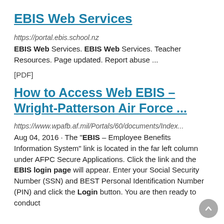EBIS Web Services
https://portal.ebis.school.nz
EBIS Web Services. EBIS Web Services. Teacher Resources. Page updated. Report abuse ...
[PDF]
How to Access Web EBIS – Wright-Patterson Air Force ...
https://www.wpafb.af.mil/Portals/60/documents/Index...
Aug 04, 2016 · The "EBIS – Employee Benefits Information System" link is located in the far left column under AFPC Secure Applications. Click the link and the EBIS login page will appear. Enter your Social Security Number (SSN) and BEST Personal Identification Number (PIN) and click the Login button. You are then ready to conduct